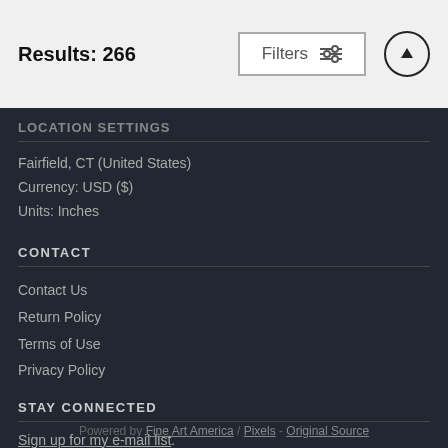Results: 266
LOCATION SETTINGS
Fairfield, CT (United States)
Currency: USD ($)
Units: Inches
CONTACT
Contact Us
Return Policy
Terms of Use
Privacy Policy
STAY CONNECTED
Sign up for my e-mail list.
Powered by Fine Art America / Pixels - Original Source